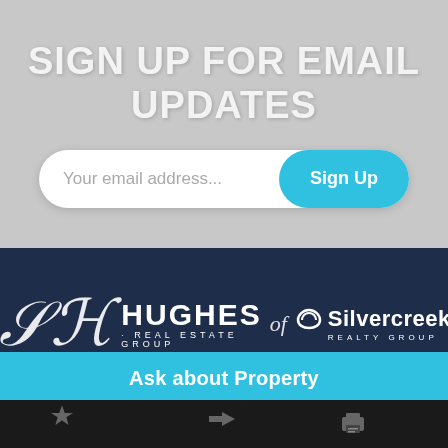SIGN UP FOR EMAIL UPDATES
Your email address...
Sign Up
[Figure (logo): Hughes Real Estate Group of Silvercreek Realty Group logo on dark navy background]
Ask about Property
[Figure (infographic): Bottom navigation bar with star, arrow, and printer icons on dark background]